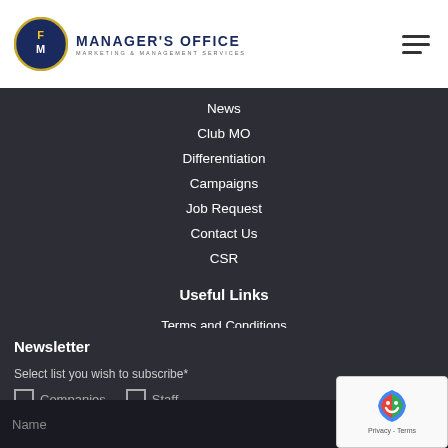[Figure (logo): Manager's Office logo with circular FM badge and company name]
News
Club MO
Differentiation
Campaigns
Job Request
Contact Us
CSR
Useful Links
Terms and Conditions
Newsletter
Select list you wish to subscribe*
Companies   Staff
Name